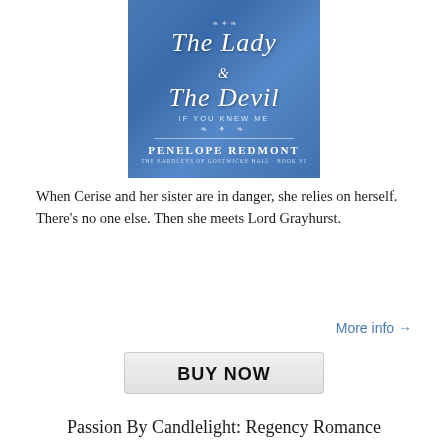[Figure (illustration): Book cover for 'The Lady & The Devil: If You Knew Me' by Penelope Redmont. The Eardleys of Gostwicke Hall, Book VI. Blue background with decorative swirl ornaments and white script/serif lettering.]
When Cerise and her sister are in danger, she relies on herself. There's no one else. Then she meets Lord Grayhurst.
More info →
BUY NOW
Passion By Candlelight: Regency Romance